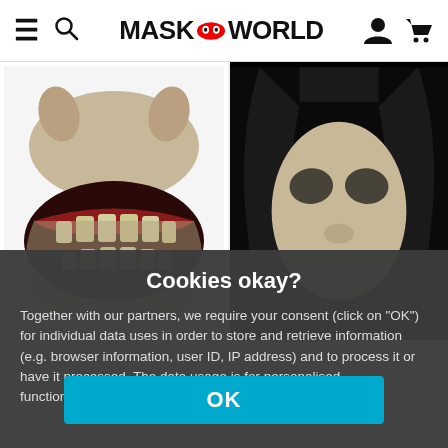MASK WORLD — navigation header with hamburger menu, search, logo, user and cart icons
[Figure (photo): Horror half-mask with exaggerated teeth and gums, white background, product photo]
[Figure (photo): Full-face horror mask with black eye sockets and long black hair, dark background, product photo]
Cookies okay?
Together with our partners, we require your consent (click on "OK") for individual data uses in order to store and retrieve information (e.g. browser information, user ID, IP address) and to process it or have it processed. The data usage is for personalised functionalities, content and ads
OK